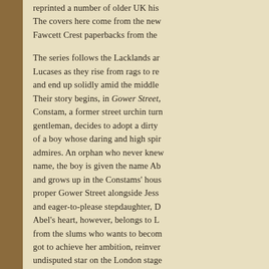reprinted a number of older UK his The covers here come from the new Fawcett Crest paperbacks from the
The series follows the Lacklands and Lucases as they rise from rags to re and end up solidly amid the middle Their story begins, in Gower Street, Constam, a former street urchin turn gentleman, decides to adopt a dirty of a boy whose daring and high spi admires. An orphan who never knew name, the boy is given the name Ab and grows up in the Constams' hous proper Gower Street alongside Jess and eager-to-please stepdaughter, D Abel's heart, however, belongs to L from the slums who wants to becom got to achieve her ambition, reinven undisputed star on the London stage irresistible attractiveness to men.
[Figure (photo): Partial photograph showing a dark, close-up image, likely a person's face or hands, cropped at the bottom of the page]
The next tw Paddington next two d